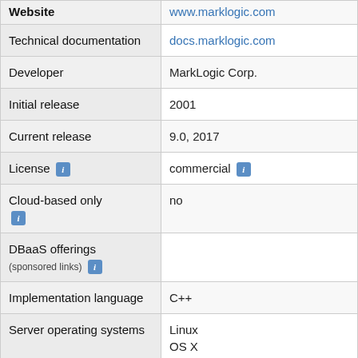| Property | Value |
| --- | --- |
| Website | www.marklogic.com |
| Technical documentation | docs.marklogic.com |
| Developer | MarkLogic Corp. |
| Initial release | 2001 |
| Current release | 9.0, 2017 |
| License [i] | commercial [i] |
| Cloud-based only [i] | no |
| DBaaS offerings (sponsored links) [i] |  |
| Implementation language | C++ |
| Server operating systems | Linux
OS X
Windows |
|  |  |